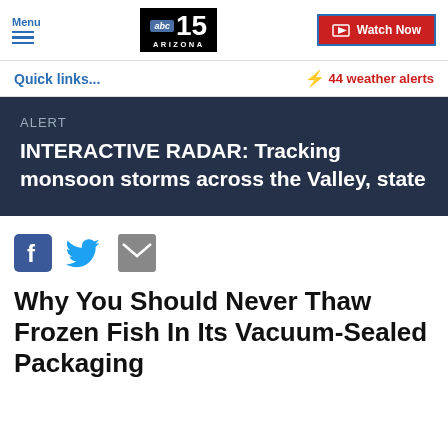Menu | abc15 ARIZONA | Watch Now
Quick links...
⚡ 44 weather alerts
ALERT
INTERACTIVE RADAR: Tracking monsoon storms across the Valley, state
[Figure (other): Social share icons: Facebook, Twitter, Email]
Why You Should Never Thaw Frozen Fish In Its Vacuum-Sealed Packaging